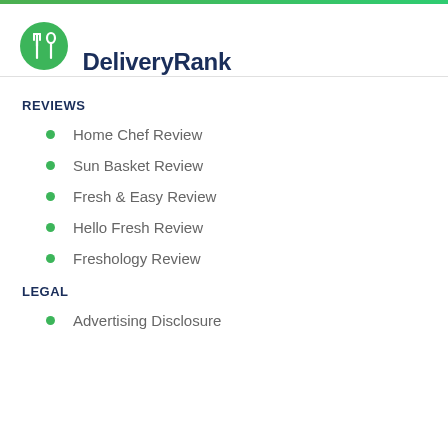[Figure (logo): DeliveryRank logo: green circle with fork and spoon icon, followed by bold dark navy text 'DeliveryRank']
REVIEWS
Home Chef Review
Sun Basket Review
Fresh & Easy Review
Hello Fresh Review
Freshology Review
LEGAL
Advertising Disclosure